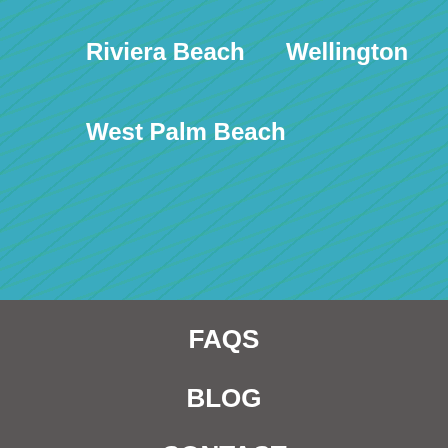Riviera Beach
Wellington
West Palm Beach
FAQS
BLOG
CONTACT
A2Z Air Inc
7965 Parsons Pine Drive
Boynton Beach, FL 33437
Phone: 561-270-6228
Email: ED@A2ZAIRINC.COM